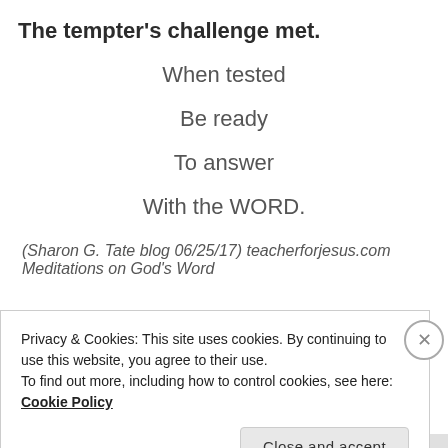The tempter's challenge met.
When tested
Be ready
To answer
With the WORD.
(Sharon G. Tate blog 06/25/17) teacherforjesus.com
Meditations on God's Word
Privacy & Cookies: This site uses cookies. By continuing to use this website, you agree to their use.
To find out more, including how to control cookies, see here: Cookie Policy
Close and accept